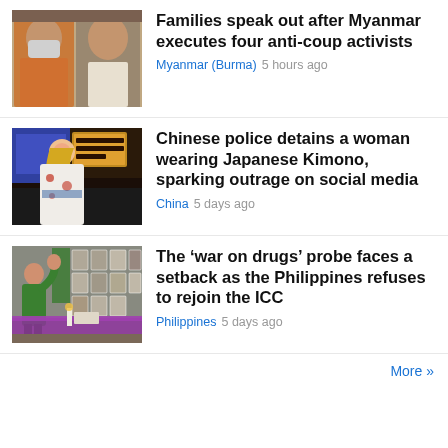[Figure (photo): Two men, one wearing an orange garment and mask, another in white, portrait shots]
Families speak out after Myanmar executes four anti-coup activists
Myanmar (Burma)  5 hours ago
[Figure (photo): Woman with long blonde hair wearing a white Japanese Kimono with red floral pattern, standing on a busy city street at night]
Chinese police detains a woman wearing Japanese Kimono, sparking outrage on social media
China  5 days ago
[Figure (photo): Memorial wall with many portrait photos, a woman in green dress, candles and purple table in foreground]
The ‘war on drugs’ probe faces a setback as the Philippines refuses to rejoin the ICC
Philippines  5 days ago
More »